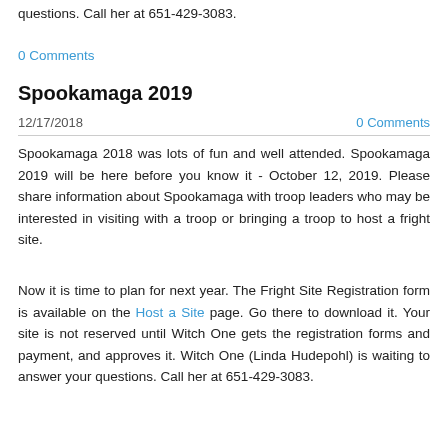questions. Call her at 651-429-3083.
0 Comments
Spookamaga 2019
12/17/2018
0 Comments
Spookamaga 2018 was lots of fun and well attended. Spookamaga 2019 will be here before you know it - October 12, 2019. Please share information about Spookamaga with troop leaders who may be interested in visiting with a troop or bringing a troop to host a fright site.
Now it is time to plan for next year. The Fright Site Registration form is available on the Host a Site page. Go there to download it. Your site is not reserved until Witch One gets the registration forms and payment, and approves it. Witch One (Linda Hudepohl) is waiting to answer your questions. Call her at 651-429-3083.